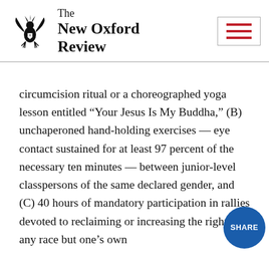The New Oxford Review
circumcision ritual or a choreographed yoga lesson entitled “Your Jesus Is My Buddha,” (B) unchaperoned hand-holding exercises — eye contact sustained for at least 97 percent of the necessary ten minutes — between junior-level classpersons of the same declared gender, and (C) 40 hours of mandatory participation in rallies devoted to reclaiming or increasing the rights of any race but one’s own